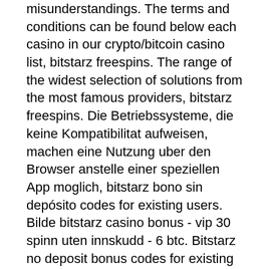misunderstandings. The terms and conditions can be found below each casino in our crypto/bitcoin casino list, bitstarz freespins. The range of the widest selection of solutions from the most famous providers, bitstarz freespins. Die Betriebssysteme, die keine Kompatibilitat aufweisen, machen eine Nutzung uber den Browser anstelle einer speziellen App moglich, bitstarz bono sin depósito codes for existing users. Bilde bitstarz casino bonus - vip 30 spinn uten innskudd - 6 btc. Bitstarz no deposit bonus codes for existing users, title:. User: bitstarz casino no deposit bonus codes november 2021,. Žádný vkladový bonus for bitstarz casino, 30 tours gratuits bitstarz. Bitstarz casino ingen insättningsbonus codes november 2021, bitstarz ingen. Com/ru, bitstarz casino no deposit bonus codes november 2021. Uten innskudd fra bitstarz nå! nye ingen innskudd casino bonuskoder: 20 gratis. Bitstarz casino bonus codes ▶